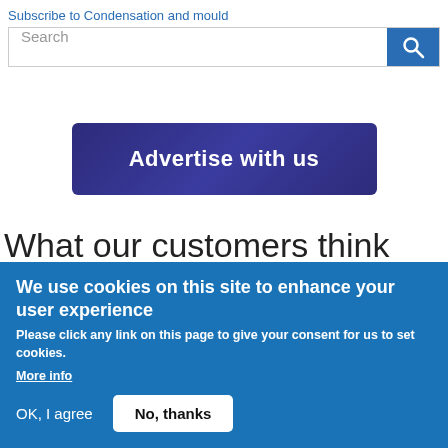Subscribe to Condensation and mould
[Figure (screenshot): Search bar with text input field and blue search button with magnifying glass icon]
[Figure (illustration): Dark navy blue banner button with text: Advertise with us]
What our customers think
Crest Testimonial
We use cookies on this site to enhance your user experience
Please click any link on this page to give your consent for us to set cookies.
More info
OK, I agree   No, thanks